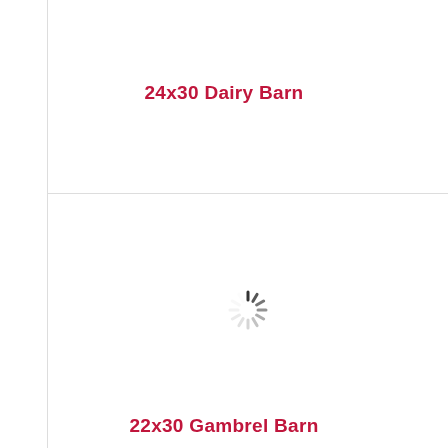24x30 Dairy Barn
[Figure (other): Loading spinner icon (animated loading indicator with radiating dashes in a circular pattern)]
22x30 Gambrel Barn